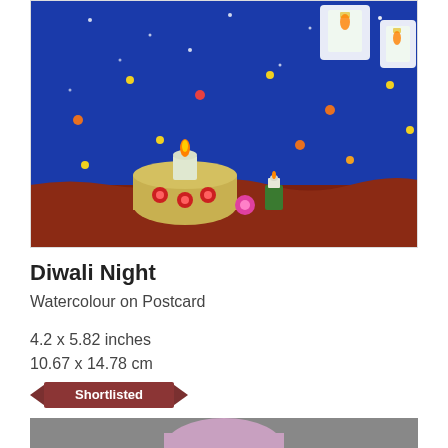[Figure (illustration): Child's watercolour drawing of Diwali night scene: dark blue background with candles/diyas on a brown surface, flowers, and colourful dots representing lights. A decorated pot/diya with red flowers in foreground, smaller candles, white lanterns in background.]
Diwali Night
Watercolour on Postcard
4.2 x 5.82 inches
10.67 x 14.78 cm
[Figure (infographic): Shortlisted banner/badge in dark red/maroon with white text]
[Figure (photo): Partial photo of a person (child), cropped, showing top of head with purple/lavender hair or hat, against grey background]